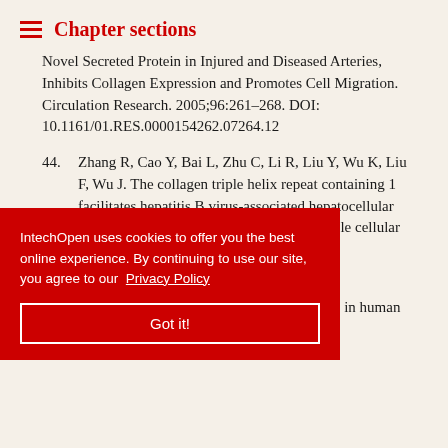Chapter sections
Novel Secreted Protein in Injured and Diseased Arteries, Inhibits Collagen Expression and Promotes Cell Migration. Circulation Research. 2005;96:261–268. DOI: 10.1161/01.RES.0000154262.07264.12
44. Zhang R, Cao Y, Bai L, Zhu C, Li R, Liu Y, Wu K, Liu F, Wu J. The collagen triple helix repeat containing 1 facilitates hepatitis B virus-associated hepatocellular carcinoma progression by regulating multiple cellular [...]ular DOI:
[cookie banner obscured text] , Li G, Zhou triple helix repeat containing 1 in human solid cancers.
[Figure (screenshot): Cookie consent banner overlay with red background. Text: 'IntechOpen uses cookies to offer you the best online experience. By continuing to use our site, you agree to our Privacy Policy'. Contains a 'Got it!' button with white border.]